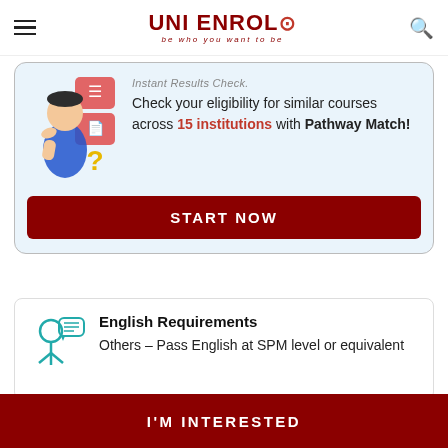UNI ENROL — be who you want to be
[Figure (illustration): Thinking person illustration with question mark and document icons, inside a light blue card with Pathway Match content]
Check your eligibility for similar courses across 15 institutions with Pathway Match!
START NOW
English Requirements
Others – Pass English at SPM level or equivalent
I'M INTERESTED